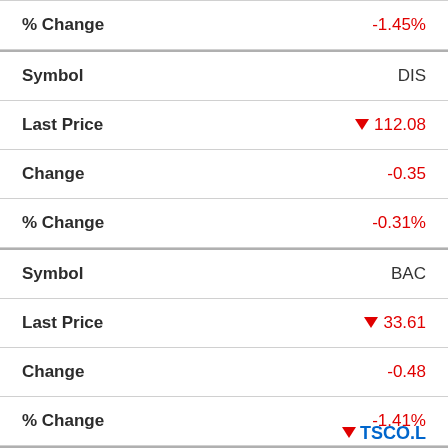| Field | Value |
| --- | --- |
| % Change | -1.45% |
| Symbol | DIS |
| Last Price | ▼ 112.08 |
| Change | -0.35 |
| % Change | -0.31% |
| Symbol | BAC |
| Last Price | ▼ 33.61 |
| Change | -0.48 |
| % Change | -1.41% |
| Symbol | BABA |